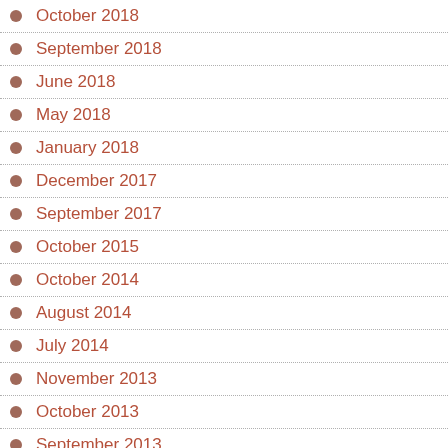October 2018
September 2018
June 2018
May 2018
January 2018
December 2017
September 2017
October 2015
October 2014
August 2014
July 2014
November 2013
October 2013
September 2013
August 2013
July 2013
April 2013
December 2011